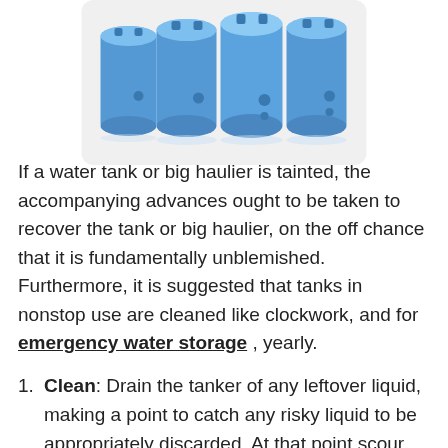[Figure (illustration): Four blue cylindrical water storage tanks arranged in a row, shown in a rounded rectangle box with light gray background.]
If a water tank or big haulier is tainted, the accompanying advances ought to be taken to recover the tank or big haulier, on the off chance that it is fundamentally unblemished. Furthermore, it is suggested that tanks in nonstop use are cleaned like clockwork, and for emergency water storage , yearly.
Clean: Drain the tanker of any leftover liquid, making a point to catch any risky liquid to be appropriately discarded. At that point scour within